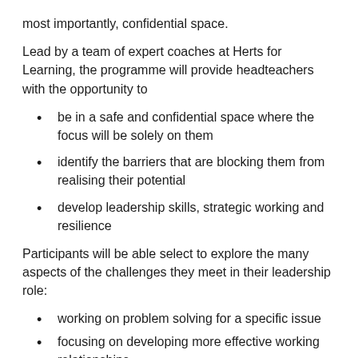most importantly, confidential space.
Lead by a team of expert coaches at Herts for Learning, the programme will provide headteachers with the opportunity to
be in a safe and confidential space where the focus will be solely on them
identify the barriers that are blocking them from realising their potential
develop leadership skills, strategic working and resilience
Participants will be able select to explore the many aspects of the challenges they meet in their leadership role:
working on problem solving for a specific issue
focusing on developing more effective working relationships